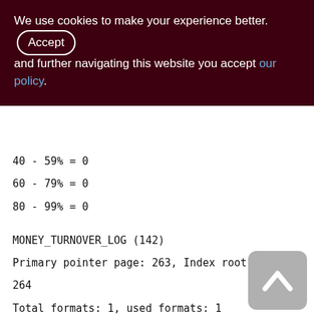We use cookies to make your experience better. By accepting and further navigating this website you accept our policy.
40 - 59% = 0
60 - 79% = 0
80 - 99% = 0
MONEY_TURNOVER_LOG (142)
Primary pointer page: 263, Index root page: 264
Total formats: 1, used formats: 1
Average record length: 3.82, total records: 516
Average version length: 46.29, total versions: 473, max versions: 1
Average fragment length: 0.00, total